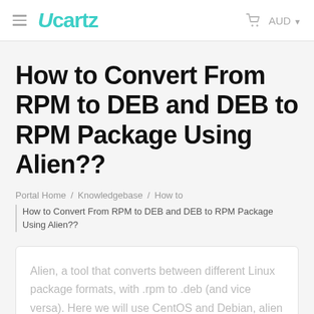Ucartz  AUD
How to Convert From RPM to DEB and DEB to RPM Package Using Alien??
Portal Home / Knowledgebase / How to
How to Convert From RPM to DEB and DEB to RPM Package Using Alien??
Alien, a tool that converts between different Linux package formats, with .rpm to .deb (and vice versa). Here we will use CentOS and Debian, alien also